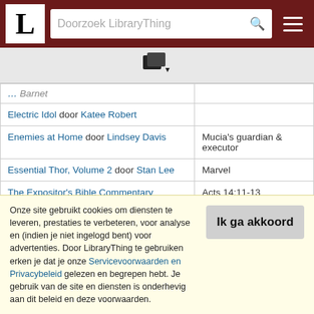Doorzoek LibraryThing
| Book | Info |
| --- | --- |
| [...] Barnet |  |
| Electric Idol door Katee Robert |  |
| Enemies at Home door Lindsey Davis | Mucia's guardian & executor |
| Essential Thor, Volume 2 door Stan Lee | Marvel |
| The Expositor's Bible Commentary (Volume 9) - John and Acts door Frank [...] | Acts 14:11-13 |
Onze site gebruikt cookies om diensten te leveren, prestaties te verbeteren, voor analyse en (indien je niet ingelogd bent) voor advertenties. Door LibraryThing te gebruiken erken je dat je onze Servicevoorwaarden en Privacybeleid gelezen en begrepen hebt. Je gebruik van de site en diensten is onderhevig aan dit beleid en deze voorwaarden.